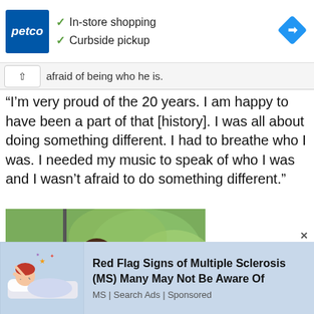[Figure (screenshot): Petco advertisement banner with blue logo, checkmarks for In-store shopping and Curbside pickup, and a blue navigation diamond icon on the right]
afraid of being who he is.
“I’m very proud of the 20 years. I am happy to have been a part of that [history]. I was all about doing something different. I had to breathe who I was. I needed my music to speak of who I was and I wasn’t afraid to do something different.”
[Figure (photo): Photo of a person with dreadlocks wearing sunglasses and a dark jacket, outdoors with green foliage in the background]
[Figure (screenshot): Bottom advertisement: Red Flag Signs of Multiple Sclerosis (MS) Many May Not Be Aware Of, by MS | Search Ads, Sponsored, with an illustration of a person lying down]